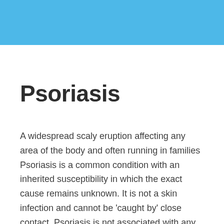[Figure (other): Solid blue rectangle header banner at top of page]
Psoriasis
A widespread scaly eruption affecting any area of the body and often running in families Psoriasis is a common condition with an inherited susceptibility in which the exact cause remains unknown. It is not a skin infection and cannot be 'caught by' close contact. Psoriasis is not associated with any internal abnormality of the body. [...]